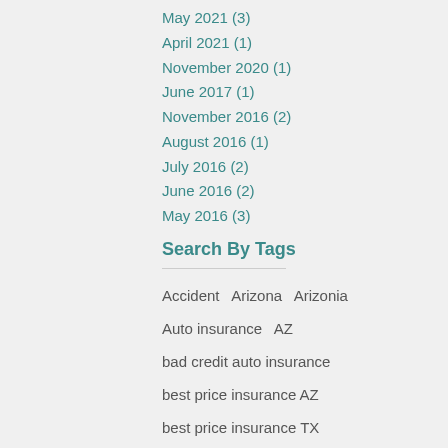May 2021 (3)
April 2021 (1)
November 2020 (1)
June 2017 (1)
November 2016 (2)
August 2016 (1)
July 2016 (2)
June 2016 (2)
May 2016 (3)
Search By Tags
Accident  Arizona  Arizonia  Auto insurance  AZ  bad credit auto insurance  best price insurance AZ  best price insurance TX  best price insurance WI  broker  budget tips  budgeting  bundle